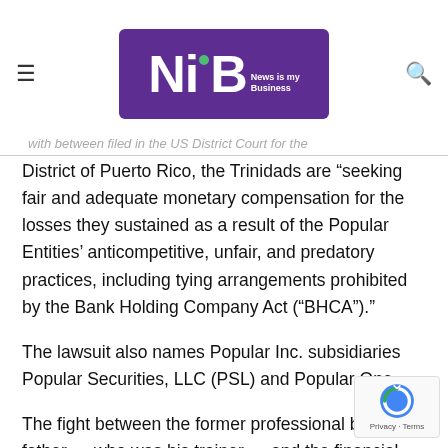NimB - News Is my Business
District of Puerto Rico, the Trinidads are “seeking fair and adequate monetary compensation for the losses they sustained as a result of the Popular Entities’ anticompetitive, unfair, and predatory practices, including tying arrangements prohibited by the Bank Holding Company Act (“BHCA”).”
The lawsuit also names Popular Inc. subsidiaries Popular Securities, LLC (PSL) and Popular One.
The fight between the former professional boxer, his father — who was his trainer — and the financial institution dates to November 2010, when the